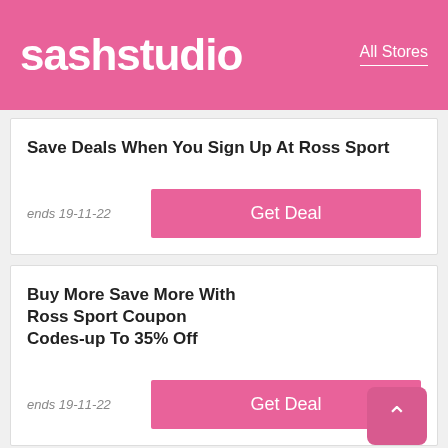sashstudio — All Stores
Save Deals When You Sign Up At Ross Sport
ends 19-11-22
Buy More Save More With Ross Sport Coupon Codes-up To 35% Off
ends 19-11-22
Save 50% Off W/ Ross Sport Promo Codes